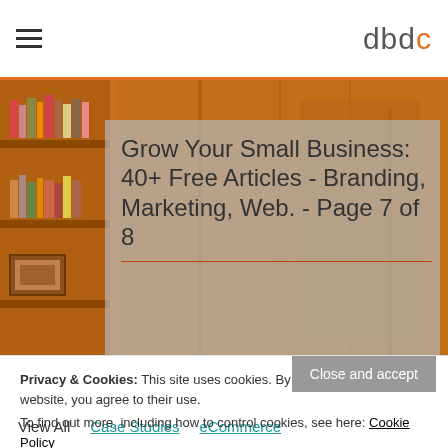dbdc
[Figure (photo): Warm orange-tinted photo of a wooden bookshelf filled with books and framed artwork]
Grow Your Small Business: 40+ Free Articles - Branding, Marketing, Web. - Page 7 of 8
Privacy & Cookies: This site uses cookies. By continuing to use this website, you agree to their use.
To find out more, including how to control cookies, see here: Cookie Policy
Close and accept
View All   Case Studies   eCommerce